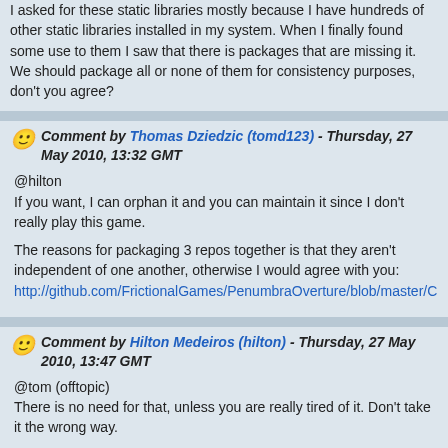I asked for these static libraries mostly because I have hundreds of other static libraries installed in my system. When I finally found some use to them I saw that there is packages that are missing it. We should package all or none of them for consistency purposes, don't you agree?
Comment by Thomas Dziedzic (tomd123) - Thursday, 27 May 2010, 13:32 GMT
@hilton
If you want, I can orphan it and you can maintain it since I don't really play this game.

The reasons for packaging 3 repos together is that they aren't independent of one another, otherwise I would agree with you:
http://github.com/FrictionalGames/PenumbraOverture/blob/master/C
Comment by Hilton Medeiros (hilton) - Thursday, 27 May 2010, 13:47 GMT
@tom (offtopic)
There is no need for that, unless you are really tired of it. Don't take it the wrong way.

Yeah, the game devs made some very simple cmake files for penumbra
in Linux. But there is a way to make them separately for use in other future projects:
http://aur.archlinux.org/packages.php?ID=37541